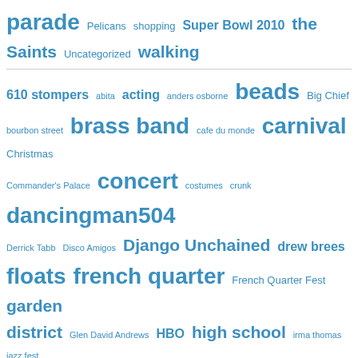[Figure (infographic): Tag cloud with New Orleans themed tags in various font sizes, all in blue. Tags include: parade, Pelicans, shopping, Super Bowl 2010, the Saints, Uncategorized, walking, 610 stompers, abita, acting, anders osborne, beads, Big Chief, bourbon street, brass band, cafe du monde, carnival, Christmas, Commander's Palace, concert, costumes, crunk, dancingman504, Derrick Tabb, Disco Amigos, Django Unchained, drew brees, floats, french quarter, French Quarter Fest, garden district, Glen David Andrews, HBO, high school, irma thomas, jazz fest, katrina, kermit ruffins, krewe, Krewe of Muses, Krewe of the Rolling Elvi, lafayette square, latonola, Laura Cayouette, los]